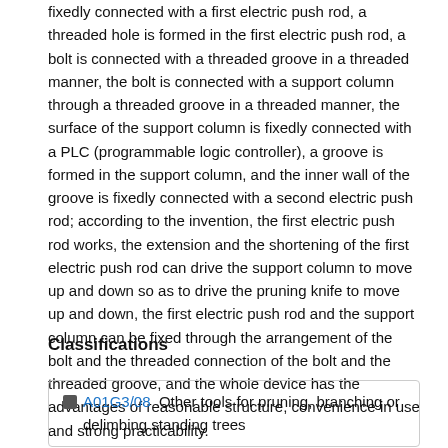fixedly connected with a first electric push rod, a threaded hole is formed in the first electric push rod, a bolt is connected with a threaded groove in a threaded manner, the bolt is connected with a support column through a threaded groove in a threaded manner, the surface of the support column is fixedly connected with a PLC (programmable logic controller), a groove is formed in the support column, and the inner wall of the groove is fixedly connected with a second electric push rod; according to the invention, the first electric push rod works, the extension and the shortening of the first electric push rod can drive the support column to move up and down so as to drive the pruning knife to move up and down, the first electric push rod and the support column can be fixed through the arrangement of the bolt and the threaded connection of the bolt and the threaded groove, and the whole device has the advantages of reasonable structure, convenience in use and strong practicability.
Classifications
A01G3/08  Other tools for pruning, branching or delimbing standing trees